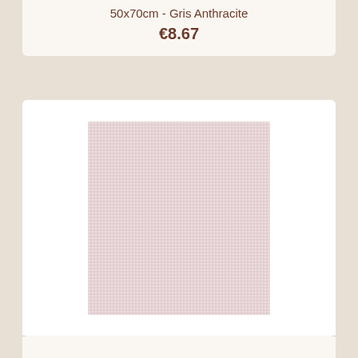50x70cm - Gris Anthracite
€8.67
[Figure (photo): Fabric swatch showing pale pink cross-stitch canvas with visible grid/weave pattern, Murano Zweigart fabric]
Toile Murano Zweigart 12,6fils/Cm - 35x45cm - Rose Pâle
€4.00